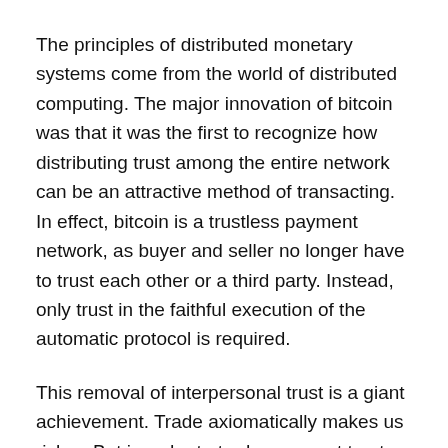The principles of distributed monetary systems come from the world of distributed computing. The major innovation of bitcoin was that it was the first to recognize how distributing trust among the entire network can be an attractive method of transacting. In effect, bitcoin is a trustless payment network, as buyer and seller no longer have to trust each other or a third party. Instead, only trust in the faithful execution of the automatic protocol is required.
This removal of interpersonal trust is a giant achievement. Trade axiomatically makes us richer. But in order to trade, we must trust the person we are trading with. Historically, trade has been mostly within tribes, among family members or other closely-knit individuals where trust was high. Trust was the only way to exchange.
After intertribal and cross-regional trade was discovered, and